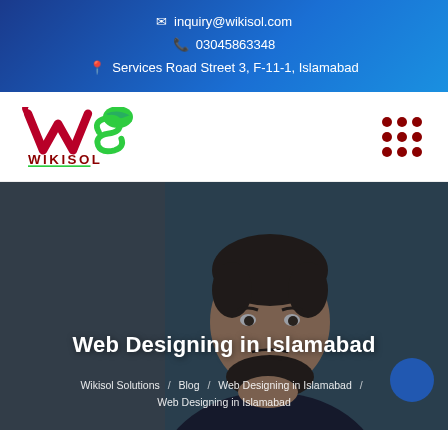inquiry@wikisol.com  03045863348  Services Road Street 3, F-11-1, Islamabad
[Figure (logo): Wikisol logo with stylized W and S in red/crimson and green, text WIKISOL below in dark red]
Web Designing in Islamabad
Wikisol Solutions / Blog / Web Designing in Islamabad / Web Designing in Islamabad
[Figure (photo): Photo of a bearded man in dark clothing, thinking pose with hand on chin, against teal-blue background, with grey overlay on left side]